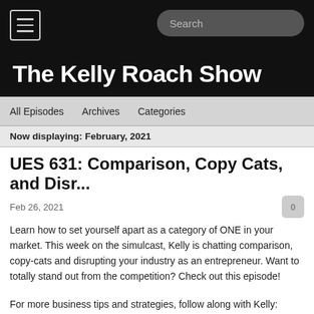The Kelly Roach Show
All Episodes  Archives  Categories
Now displaying: February, 2021
UES 631: Comparison, Copy Cats, and Disr...
Feb 26, 2021
Learn how to set yourself apart as a category of ONE in your market. This week on the simulcast, Kelly is chatting comparison, copy-cats and disrupting your industry as an entrepreneur. Want to totally stand out from the competition? Check out this episode!
For more business tips and strategies, follow along with Kelly:
Join the Tribe of Unstoppables on FB: